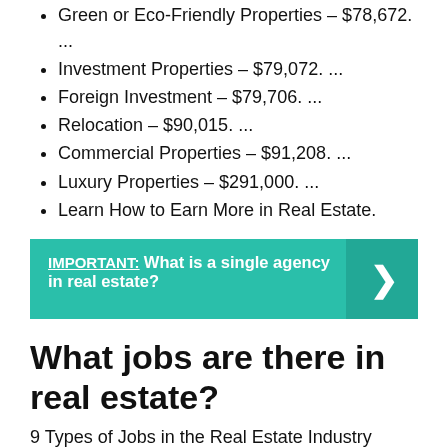Green or Eco-Friendly Properties – $78,672. ...
Investment Properties – $79,072. ...
Foreign Investment – $79,706. ...
Relocation – $90,015. ...
Commercial Properties – $91,208. ...
Luxury Properties – $291,000. ...
Learn How to Earn More in Real Estate.
[Figure (infographic): Teal callout box with text: IMPORTANT: What is a single agency in real estate? with a right-arrow chevron on the right side.]
What jobs are there in real estate?
9 Types of Jobs in the Real Estate Industry